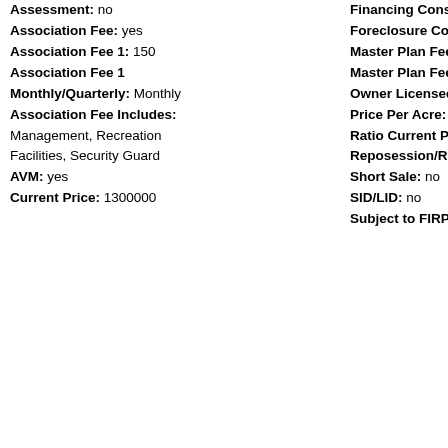Assessment: no
Association Fee: yes
Association Fee 1: 150
Association Fee 1 Monthly/Quarterly: Monthly
Association Fee Includes: Management, Recreation Facilities, Security Guard
AVM: yes
Current Price: 1300000
Financing Consi...
Foreclosure Com...
Master Plan Fee...
Master Plan Fee...
Owner Licensee:
Price Per Acre: 4...
Ratio Current Pri...
Reposession/RE...
Short Sale: no
SID/LID: no
Subject to FIRPT...